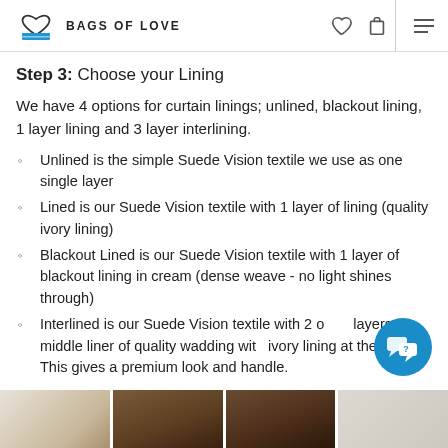BAGS OF LOVE
Step 3: Choose your Lining
We have 4 options for curtain linings; unlined, blackout lining, 1 layer lining and 3 layer interlining.
Unlined is the simple Suede Vision textile we use as one single layer
Lined is our Suede Vision textile with 1 layer of lining (quality ivory lining)
Blackout Lined is our Suede Vision textile with 1 layer of blackout lining in cream (dense weave - no light shines through)
Interlined is our Suede Vision textile with 2 other layers. 1 middle liner of quality wadding with ivory lining at the back. This gives a premium look and handle.
[Figure (photo): Bottom strip showing fabric/textile samples in different colors]